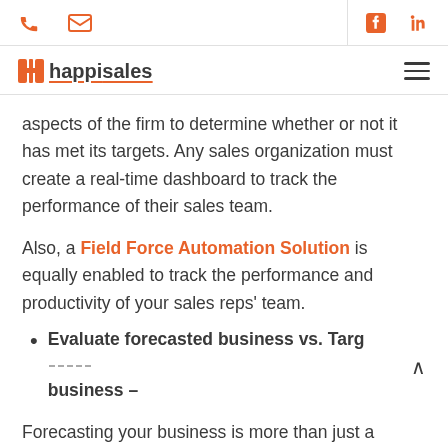Phone | Email | Facebook | LinkedIn
happisales [logo] | navigation menu
aspects of the firm to determine whether or not it has met its targets. Any sales organization must create a real-time dashboard to track the performance of their sales team.
Also, a Field Force Automation Solution is equally enabled to track the performance and productivity of your sales reps' team.
Evaluate forecasted business vs. Targeted business –
Forecasting your business is more than just a